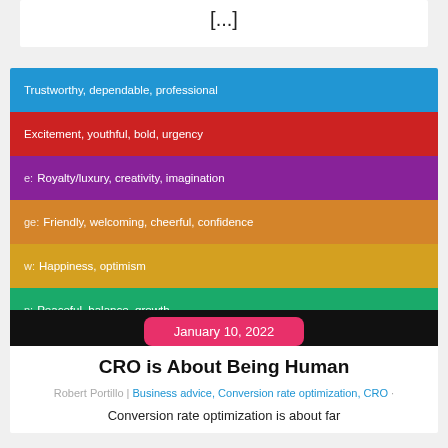[...]
[Figure (infographic): Color psychology table showing color bands with associated traits: Blue - Trustworthy, dependable, professional; Red - Excitement, youthful, bold, urgency; Purple - Royalty/luxury, creativity, imagination; Orange - Friendly, welcoming, cheerful, confidence; Yellow - Happiness, optimism; Green - Peaceful, balance, growth; White - Simplicity, clarity, purity; Black - Classic, elegance]
January 10, 2022
CRO is About Being Human
Robert Portillo | Business advice, Conversion rate optimization, CRO
Conversion rate optimization is about far